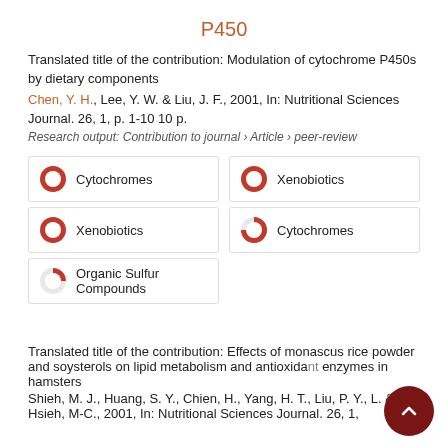P450
Translated title of the contribution: Modulation of cytochrome P450s by dietary components
Chen, Y. H., Lee, Y. W. & Liu, J. F., 2001, In: Nutritional Sciences Journal. 26, 1, p. 1-10 10 p.
Research output: Contribution to journal › Article › peer-review
[Figure (infographic): Six keyword badge items in a 2-column grid with donut/pie percentage icons: Cytochromes 100%, Xenobiotics 100% (right col), Xenobiotics 100%, Cytochromes 75% (right col), Organic Sulfur Compounds 25%]
Translated title of the contribution: Effects of monascus rice powder and soysterols on lipid metabolism and antioxidant enzymes in hamsters
Shieh, M. J., Huang, S. Y., Chien, H., Yang, H. T., Liu, P. Y., L. & Hsieh, M-C., 2001, In: Nutritional Sciences Journal. 26, 1,